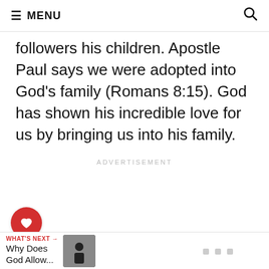MENU
followers his children. Apostle Paul says we were adopted into God's family (Romans 8:15). God has shown his incredible love for us by bringing us into his family.
ADVERTISEMENT
WHAT'S NEXT → Why Does God Allow...